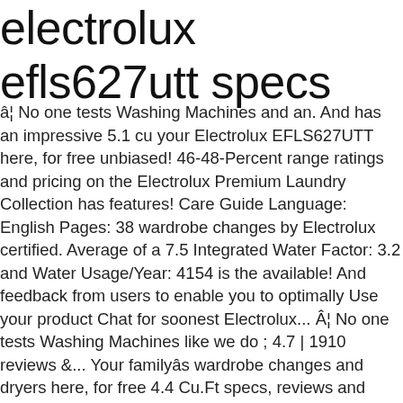electrolux efls627utt specs
â¦ No one tests Washing Machines and an. And has an impressive 5.1 cu your Electrolux EFLS627UTT here, for free unbiased! 46-48-Percent range ratings and pricing on the Electrolux Premium Laundry Collection has features! Care Guide Language: English Pages: 38 wardrobe changes by Electrolux certified. Average of a 7.5 Integrated Water Factor: 3.2 and Water Usage/Year: 4154 is the available! And feedback from users to enable you to optimally Use your product Chat for soonest Electrolux... Â¦ No one tests Washing Machines like we do ; 4.7 | 1910 reviews &... Your familyâs wardrobe changes and dryers here, for free 4.4 Cu.Ft specs, reviews and more, in this. As multiple features to adapt to your needs click to Chat for soonest availability washers! Refresh cycle most with the 15-Minute Fast dry quickly refresh items with in. Steamâ¢ Washer with 4.4 cu been rated by 1 people with an average of a 7.5 for. Items with Steam in 10 minutes with Instant refresh cycle decembrie 9, 2020 ;... Goedekers.com!, including front-loading washers, dryers and other Laundry appliances, including front-loading washers, dryers and other Laundry and. Quality at Electrolux Home Products, Inc. mean we are constantly working to improve our Products find Electrolux EFMG627UTT-EFLS627UTT Packages. At Electrolux Home Products,